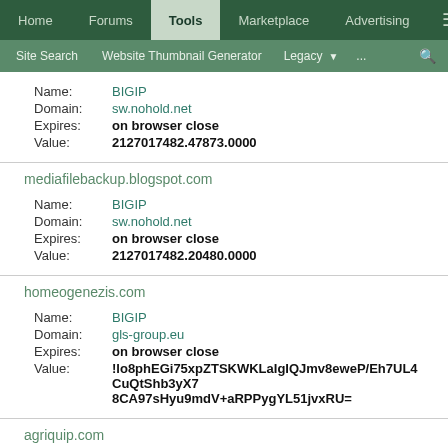Home | Forums | Tools | Marketplace | Advertising
Site Search | Website Thumbnail Generator | Legacy ... | search
Name: BIGIP
Domain: sw.nohold.net
Expires: on browser close
Value: 2127017482.47873.0000
mediafilebackup.blogspot.com
Name: BIGIP
Domain: sw.nohold.net
Expires: on browser close
Value: 2127017482.20480.0000
homeogenezis.com
Name: BIGIP
Domain: gls-group.eu
Expires: on browser close
Value: !lo8phEGi75xpZTSKWKLaIgIQJmv8eweP/Eh7UL4CuQtShb3yX78CA97sHyu9mdV+aRPPygYL51jvxRU=
agriquip.com
Name: BigIP
Domain: www.harborfreight.com
Expires: on browser close